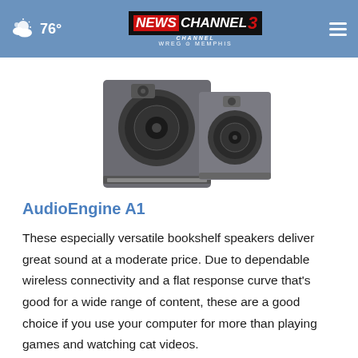76° | NEWS CHANNEL 3 WREG MEMPHIS
[Figure (photo): Product photo of AudioEngine A1 bookshelf speakers (a pair of dark gray/charcoal compact speakers)]
AudioEngine A1
These especially versatile bookshelf speakers deliver great sound at a moderate price. Due to dependable wireless connectivity and a flat response curve that’s good for a wide range of content, these are a good choice if you use your computer for more than playing games and watching cat videos.
$